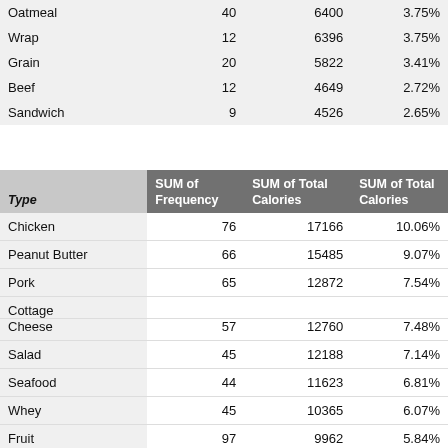| Type | SUM of Frequency | SUM of Total Calories | SUM of Total Calories |
| --- | --- | --- | --- |
| Oatmeal | 40 | 6400 | 3.75% |
| Wrap | 12 | 6396 | 3.75% |
| Grain | 20 | 5822 | 3.41% |
| Beef | 12 | 4649 | 2.72% |
| Sandwich | 9 | 4526 | 2.65% |
| Type | SUM of Frequency | SUM of Total Calories | SUM of Total Calories |
| --- | --- | --- | --- |
| Chicken | 76 | 17166 | 10.06% |
| Peanut Butter | 66 | 15485 | 9.07% |
| Pork | 65 | 12872 | 7.54% |
| Cottage Cheese | 57 | 12760 | 7.48% |
| Salad | 45 | 12188 | 7.14% |
| Seafood | 44 | 11623 | 6.81% |
| Whey | 45 | 10365 | 6.07% |
| Fruit | 97 | 9962 | 5.84% |
| Jerky | 38 | 7440 | 4.36% |
| Snack | 28 | 7284 | 4.27% |
| Oatmeal | 40 | 6400 | 3.75% |
| Wrap | 12 | 6396 | 3.75% |
| Grain | 20 | 5000 | 3.41% |